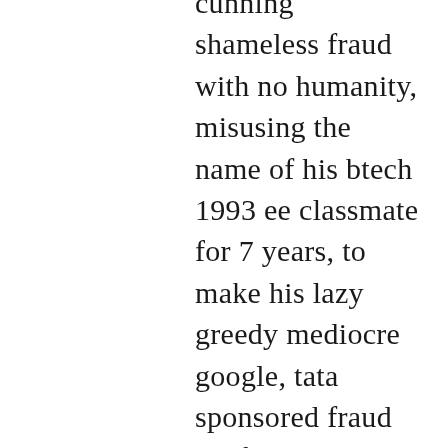cunning shameless fraud with no humanity, misusing the name of his btech 1993 ee classmate for 7 years, to make his lazy greedy mediocre google, tata sponsored fraud girlfriends rich and powerful , simultaneously destroying the life of his harmless btech 1993 ee classmate, stealing her resume, correspondence, savings, sexually harassing her denying her the income and